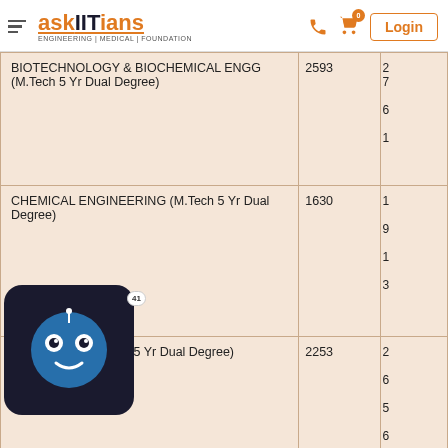askIITians ENGINEERING | MEDICAL | FOUNDATION
| Course | Rank |  |
| --- | --- | --- |
| BIOTECHNOLOGY & BIOCHEMICAL ENGG (M.Tech 5 Yr Dual Degree) | 2593 | 2761 |
| CHEMICAL ENGINEERING (M.Tech 5 Yr Dual Degree) | 1630 | 1913 |
| CIVIL ENGG.(M.Tech 5 Yr Dual Degree) | 2253 | 2656 |
| COMPUTER SCIENCE & ENGINEERING (M.Tech 5 Yr Dual Degree) | 418 | 5446 |
| ELECTRICAL ENGG. (M.Tech 5 Yr Dual Degree) | 899 | 1 |